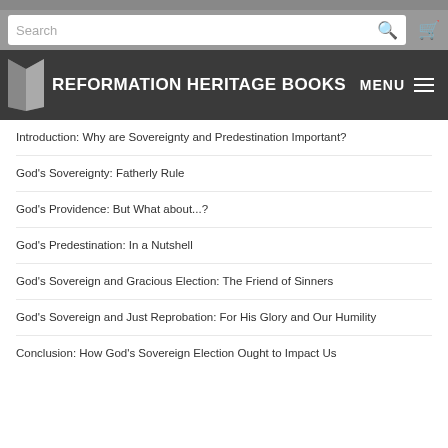Reformation Heritage Books
Introduction: Why are Sovereignty and Predestination Important?
God's Sovereignty: Fatherly Rule
God's Providence: But What about...?
God's Predestination: In a Nutshell
God's Sovereign and Gracious Election: The Friend of Sinners
God's Sovereign and Just Reprobation: For His Glory and Our Humility
Conclusion: How God's Sovereign Election Ought to Impact Us